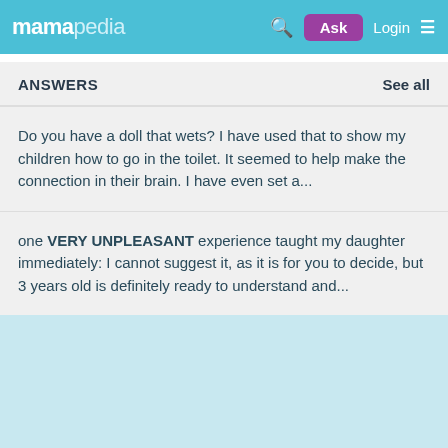mamapedia | Ask | Login
ANSWERS  See all
Do you have a doll that wets? I have used that to show my children how to go in the toilet. It seemed to help make the connection in their brain. I have even set a...
one VERY UNPLEASANT experience taught my daughter immediately: I cannot suggest it, as it is for you to decide, but 3 years old is definitely ready to understand and...